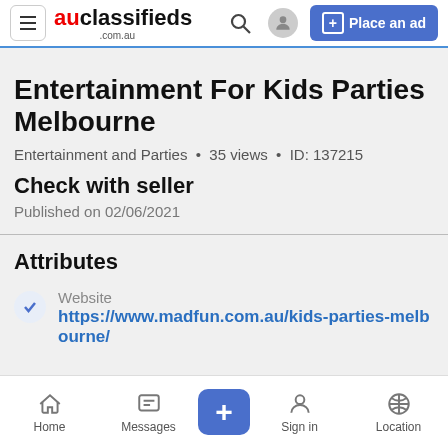auclassifieds .com.au | Place an ad
Entertainment For Kids Parties Melbourne
Entertainment and Parties • 35 views • ID: 137215
Check with seller
Published on 02/06/2021
Attributes
Website
https://www.madfun.com.au/kids-parties-melbourne/
Home | Messages | + | Sign in | Location